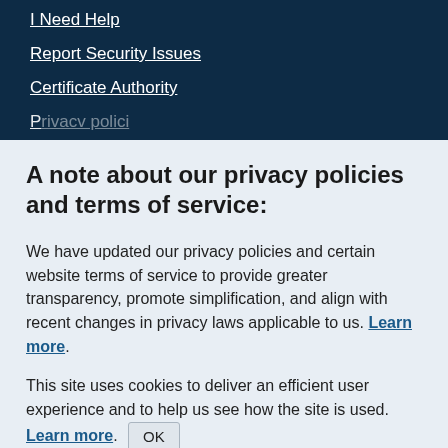I Need Help
Report Security Issues
Certificate Authority
P... (partial, cut off)
A note about our privacy policies and terms of service:
We have updated our privacy policies and certain website terms of service to provide greater transparency, promote simplification, and align with recent changes in privacy laws applicable to us. Learn more.
This site uses cookies to deliver an efficient user experience and to help us see how the site is used. Learn more. OK